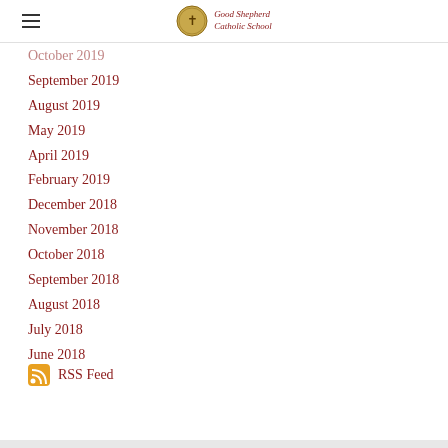Good Shepherd Catholic School
October 2019
September 2019
August 2019
May 2019
April 2019
February 2019
December 2018
November 2018
October 2018
September 2018
August 2018
July 2018
June 2018
RSS Feed